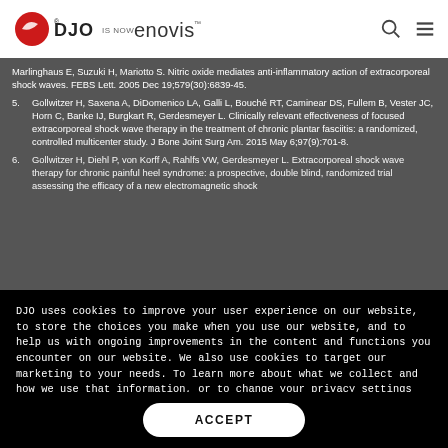[Figure (logo): DJO is now Enovis logo with search and menu icons]
Marlinghaus E, Suzuki H, Mariotto S. Nitric oxide mediates anti-inflammatory action of extracorporeal shock waves. FEBS Lett. 2005 Dec 19;579(30):6839-45.
5. Gollwitzer H, Saxena A, DiDomenico LA, Galli L, Bouché RT, Caminear DS, Fullem B, Vester JC, Horn C, Banke IJ, Burgkart R, Gerdesmeyer L. Clinically relevant effectiveness of focused extracorporeal shock wave therapy in the treatment of chronic plantar fasciitis: a randomized, controlled multicenter study. J Bone Joint Surg Am. 2015 May 6;97(9):701-8.
6. Gollwitzer H, Diehl P, von Korff A, Rahlfs VW, Gerdesmeyer L. Extracorporeal shock wave therapy for chronic painful heel syndrome: a prospective, double blind, randomized trial assessing the efficacy of a new electromagnetic shock...
DJO uses cookies to improve your user experience on our website, to store the choices you make when you use our website, and to help us with ongoing improvements in the content and functions you encounter on our website. We also use cookies to target our marketing to your needs. To learn more about what we collect and how we use that information, or to change your privacy settings see our Privacy Policy. Manage Preferences.
ACCEPT